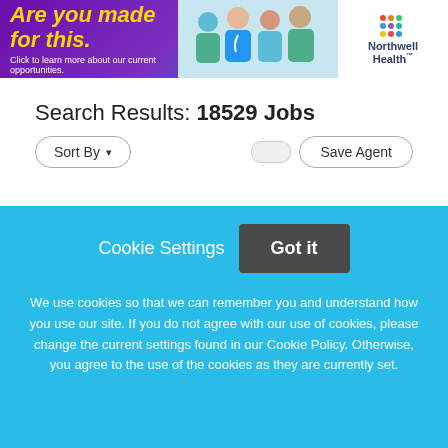[Figure (illustration): Northwell Health banner advertisement with text 'Are you made for this?' and medical staff silhouettes, featuring the Northwell Health logo with colorful dots]
Search Results: 18529 Jobs
Sort By ▾
Save Agent
RNs – Cardiac Cath Lab & Cardiac Cath Holding (FT & PT)
Cookie Settings   Got it
We use cookies so that we can remember you and understand how you use our site. If you do not agree with our use of cookies, please change the current settings found in our Cookie Policy. Otherwise, you agree to the use of the cookies as they are currently set.